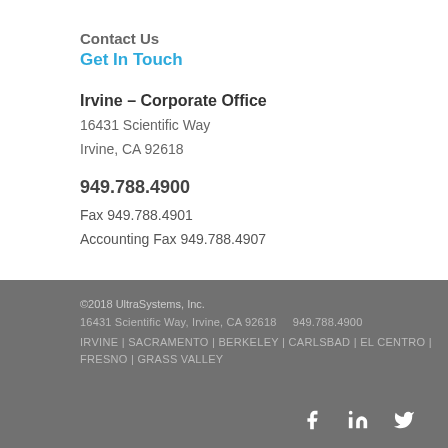Contact Us
Get In Touch
Irvine – Corporate Office
16431 Scientific Way
Irvine, CA 92618
949.788.4900
Fax 949.788.4901
Accounting Fax 949.788.4907
©2018 UltraSystems, Inc.
16431 Scientific Way, Irvine, CA 92618     949.788.4900
IRVINE | SACRAMENTO | BERKELEY | CARLSBAD | EL CENTRO | FRESNO | GRASS VALLEY